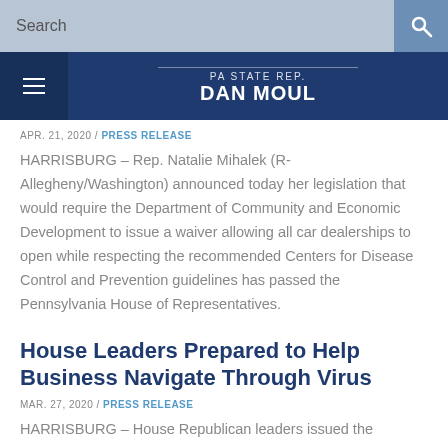Search
PA STATE REP. DAN MOUL
APR. 21, 2020 / PRESS RELEASE
HARRISBURG – Rep. Natalie Mihalek (R-Allegheny/Washington) announced today her legislation that would require the Department of Community and Economic Development to issue a waiver allowing all car dealerships to open while respecting the recommended Centers for Disease Control and Prevention guidelines has passed the Pennsylvania House of Representatives.
House Leaders Prepared to Help Business Navigate Through Virus
MAR. 27, 2020 / PRESS RELEASE
HARRISBURG – House Republican leaders issued the